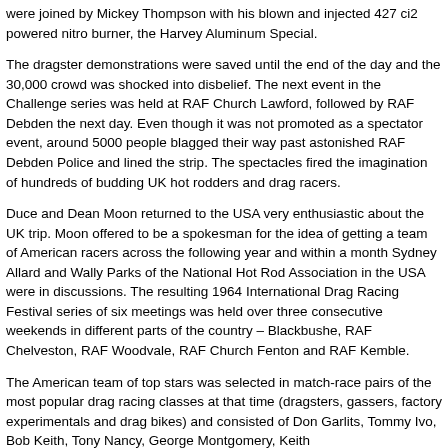were joined by Mickey Thompson with his blown and injected 427 ci2 powered nitro burner, the Harvey Aluminum Special.
The dragster demonstrations were saved until the end of the day and the 30,000 crowd was shocked into disbelief. The next event in the Challenge series was held at RAF Church Lawford, followed by RAF Debden the next day. Even though it was not promoted as a spectator event, around 5000 people blagged their way past astonished RAF Debden Police and lined the strip. The spectacles fired the imagination of hundreds of budding UK hot rodders and drag racers.
Duce and Dean Moon returned to the USA very enthusiastic about the UK trip. Moon offered to be a spokesman for the idea of getting a team of American racers across the following year and within a month Sydney Allard and Wally Parks of the National Hot Rod Association in the USA were in discussions. The resulting 1964 International Drag Racing Festival series of six meetings was held over three consecutive weekends in different parts of the country – Blackbushe, RAF Chelveston, RAF Woodvale, RAF Church Fenton and RAF Kemble.
The American team of top stars was selected in match-race pairs of the most popular drag racing classes at that time (dragsters, gassers, factory experimentals and drag bikes) and consisted of Don Garlits, Tommy Ivo, Bob Keith, Tony Nancy, George Montgomery, Keith